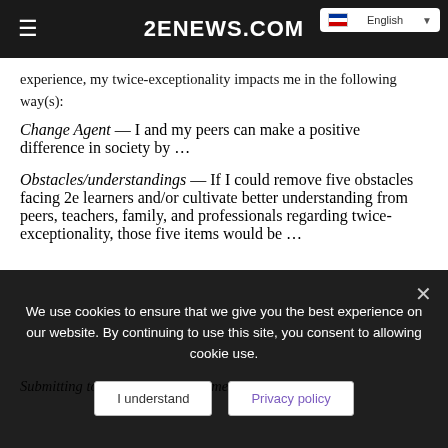2ENEWS.COM
experience, my twice-exceptionality impacts me in the following way(s):
Change Agent — I and my peers can make a positive difference in society by …
Obstacles/understandings — If I could remove five obstacles facing 2e learners and/or cultivate better understanding from peers, teachers, family, and professionals regarding twice-exceptionality, those five items would be …
Submitting to the committee will mean providing…
We use cookies to ensure that we give you the best experience on our website. By continuing to use this site, you consent to allowing cookie use.